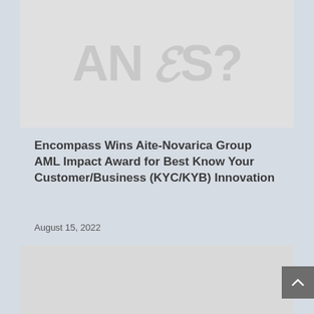[Figure (photo): Faded logo/text image at top of page, showing partial text in light gray]
Encompass Wins Aite-Novarica Group AML Impact Award for Best Know Your Customer/Business (KYC/KYB) Innovation
August 15, 2022
[Figure (photo): Large gray placeholder image in the lower portion of the page]